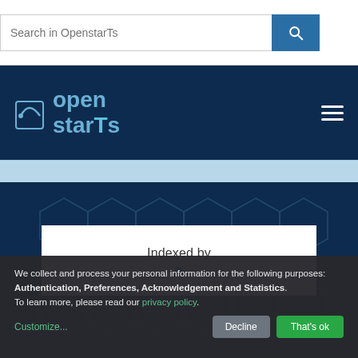[Figure (screenshot): Search bar with placeholder text 'Search in OpenstarTs' and a blue search button with magnifying glass icon]
[Figure (logo): OpenstarTs logo on dark navy navigation bar with hamburger menu icon on the right]
[Figure (screenshot): Dark navy banner section with hexagonal pattern overlay]
Indexed by
We collect and process your personal information for the following purposes: Authentication, Preferences, Acknowledgement and Statistics. To learn more, please read our privacy policy.
Customize...
Decline
That's ok